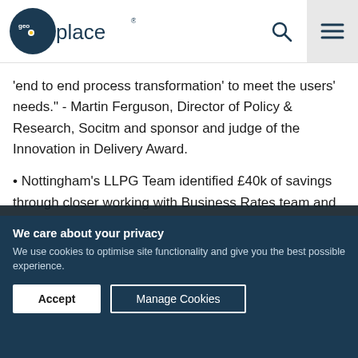GeoPlace logo header with search and menu icons
'end to end process transformation' to meet the users' needs." - Martin Ferguson, Director of Policy & Research, Socitm and sponsor and judge of the Innovation in Delivery Award.
• Nottingham's LLPG Team identified £40k of savings through closer working with Business Rates team and VOA in Nottingham
We care about your privacy
We use cookies to optimise site functionality and give you the best possible experience.